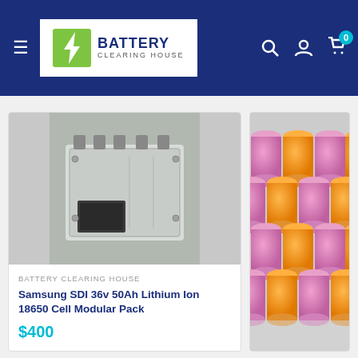[Figure (screenshot): Battery Clearing House website header with logo, hamburger menu, search, account, and cart icons on dark blue background]
[Figure (photo): Samsung SDI 36v 50Ah Lithium Ion 18650 Cell Modular Pack — gray rectangular battery module]
BATTERY CLEARING HOUSE
Samsung SDI 36v 50Ah Lithium Ion 18650 Cell Modular Pack
$400
[Figure (photo): Cylindrical 18650 battery cells wrapped in pink and orange sleeves, bundled together]